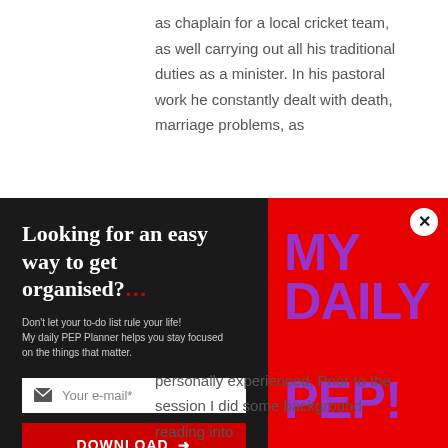as chaplain for a local cricket team, as well carrying out all his traditional duties as a minister. In his pastoral work he constantly dealt with death, marriage problems, as
[Figure (screenshot): Popup advertisement for 'My Daily PEP!' planner from Scarlet Thinking. Dark left panel with headline 'Looking for an easy way to get organised?...' with email input, download button, and disclaimer text. Red right panel with large purple text 'MY DAILY PEP!' and a close button.]
personally experienced. Prior to the session I did some background reading into